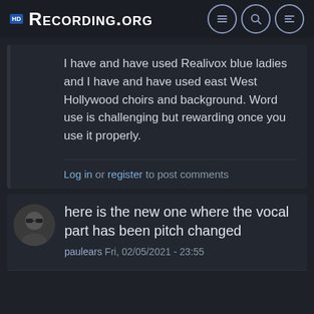Recording.org
I have and have used Realivox blue ladies and I have and have used east West Hollywood choirs and background. Word use is challenging but rewarding once you use it properly.
Log in or register to post comments
here is the new one where the vocal part has been pitch changed
paulears Fri, 02/05/2021 - 23:55